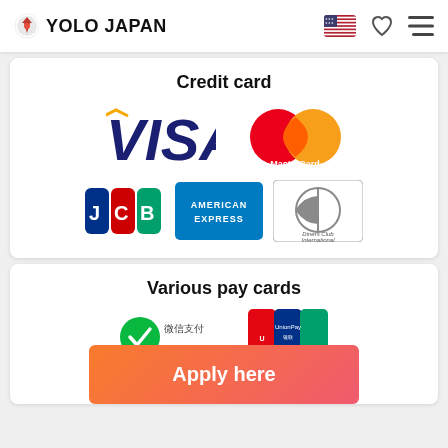YOLO JAPAN
Credit card
[Figure (logo): VISA logo, MasterCard logo, JCB logo, American Express logo, Diners Club International logo]
Various pay cards
[Figure (logo): WeChat Pay logo (微信支付), UnionPay logo]
Apply here